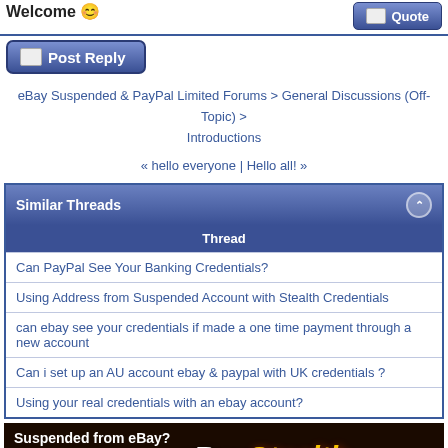Welcome
Quote
Post Reply
eBay Suspended & PayPal Limited Forums > General Discussions (Off-Topic) > Introductions
« hello everyone | Hello all! »
| Thread |
| --- |
| Can PayPal See Your Banking Credentials? |
| Using Address from Suspended Account with Stealth Credentials |
| can ebay see your credentials if made a one time payment through a new account |
| Can i set up an AU account ebay & paypal with UK credentials ? |
| Using your real credentials with an ebay account? |
[Figure (illustration): Advertisement banner: Suspended from eBay? FIGHT BACK! with eBayStealth]